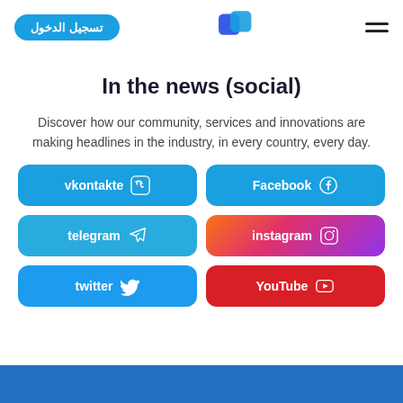تسجيل الدخول [logo] [hamburger menu]
In the news (social)
Discover how our community, services and innovations are making headlines in the industry, in every country, every day.
[Figure (infographic): Six social media buttons: vkontakte, Facebook, telegram, instagram, twitter, YouTube]